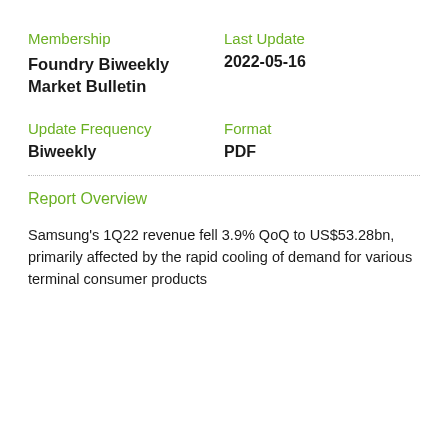Membership
Last Update
Foundry Biweekly Market Bulletin
2022-05-16
Update Frequency
Format
Biweekly
PDF
Report Overview
Samsung's 1Q22 revenue fell 3.9% QoQ to US$53.28bn, primarily affected by the rapid cooling of demand for various terminal consumer products